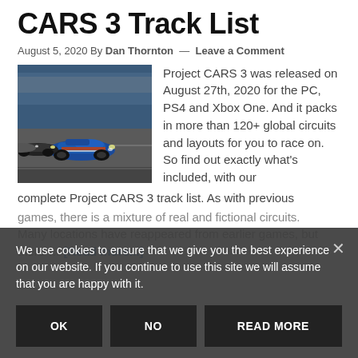CARS 3 Track List
August 5, 2020 By Dan Thornton — Leave a Comment
[Figure (photo): Racing cars on a circuit track, featuring a blue race car prominently in the foreground with other cars behind, race track and crowd visible in background.]
Project CARS 3 was released on August 27th, 2020 for the PC, PS4 and Xbox One. And it packs in more than 120+ global circuits and layouts for you to race on. So find out exactly what's included, with our complete Project CARS 3 track list. As with previous games, there is a mixture of real and fictional circuits. Many locations have reappeared from earlier games, but there … [Read more...]
We use cookies to ensure that we give you the best experience on our website. If you continue to use this site we will assume that you are happy with it.
OK
NO
READ MORE